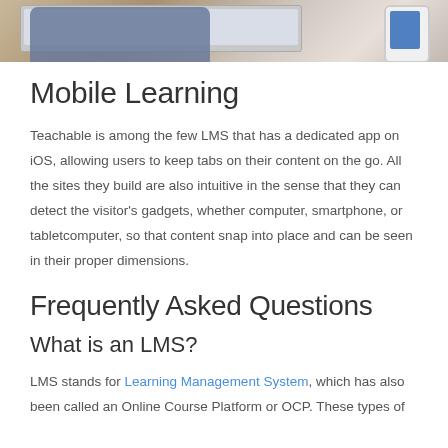[Figure (photo): Photo showing a person's arm/hand near a laptop on a wooden desk, with a smartphone on the right side.]
Mobile Learning
Teachable is among the few LMS that has a dedicated app on iOS, allowing users to keep tabs on their content on the go. All the sites they build are also intuitive in the sense that they can detect the visitor's gadgets, whether computer, smartphone, or tabletcomputer, so that content snap into place and can be seen in their proper dimensions.
Frequently Asked Questions
What is an LMS?
LMS stands for Learning Management System, which has also been called an Online Course Platform or OCP. These types of